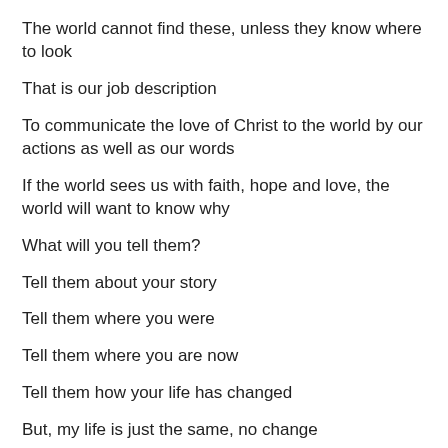The world cannot find these, unless they know where to look
That is our job description
To communicate the love of Christ to the world by our actions as well as our words
If the world sees us with faith, hope and love, the world will want to know why
What will you tell them?
Tell them about your story
Tell them where you were
Tell them where you are now
Tell them how your life has changed
But, my life is just the same, no change
Think about that